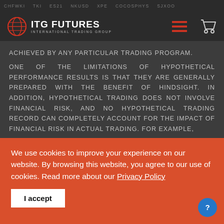CHFWKI TK ES21 NKUSD XPE COCOSPHYS SJXOO
[Figure (logo): ITG Futures - International Trading Group logo with globe icon]
ACHIEVED BY ANY PARTICULAR TRADING PROGRAM.
ONE OF THE LIMITATIONS OF HYPOTHETICAL PERFORMANCE RESULTS IS THAT THEY ARE GENERALLY PREPARED WITH THE BENEFIT OF HINDSIGHT. IN ADDITION, HYPOTHETICAL TRADING DOES NOT INVOLVE FINANCIAL RISK, AND NO HYPOTHETICAL TRADING RECORD CAN COMPLETELY ACCOUNT FOR THE IMPACT OF FINANCIAL RISK IN ACTUAL TRADING. FOR EXAMPLE,
We use cookies to improve your experience on our website. By browsing this website, you agree to our use of cookies. Read more about our Privacy Policy
I accept